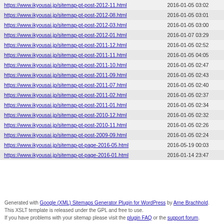| URL | Last Modified |
| --- | --- |
| https://www.ikyousai.jp/sitemap-pt-post-2012-11.html | 2016-01-05 03:02 |
| https://www.ikyousai.jp/sitemap-pt-post-2012-08.html | 2016-01-05 03:01 |
| https://www.ikyousai.jp/sitemap-pt-post-2012-03.html | 2016-01-05 03:00 |
| https://www.ikyousai.jp/sitemap-pt-post-2012-01.html | 2016-01-07 03:29 |
| https://www.ikyousai.jp/sitemap-pt-post-2011-12.html | 2016-01-05 02:52 |
| https://www.ikyousai.jp/sitemap-pt-post-2011-11.html | 2016-01-05 04:05 |
| https://www.ikyousai.jp/sitemap-pt-post-2011-10.html | 2016-01-05 02:47 |
| https://www.ikyousai.jp/sitemap-pt-post-2011-09.html | 2016-01-05 02:43 |
| https://www.ikyousai.jp/sitemap-pt-post-2011-07.html | 2016-01-05 02:40 |
| https://www.ikyousai.jp/sitemap-pt-post-2011-02.html | 2016-01-05 02:37 |
| https://www.ikyousai.jp/sitemap-pt-post-2011-01.html | 2016-01-05 02:34 |
| https://www.ikyousai.jp/sitemap-pt-post-2010-12.html | 2016-01-05 02:32 |
| https://www.ikyousai.jp/sitemap-pt-post-2010-11.html | 2016-01-05 02:26 |
| https://www.ikyousai.jp/sitemap-pt-post-2009-09.html | 2016-01-05 02:24 |
| https://www.ikyousai.jp/sitemap-pt-page-2016-05.html | 2016-05-19 00:03 |
| https://www.ikyousai.jp/sitemap-pt-page-2016-01.html | 2016-01-14 23:47 |
Generated with Google (XML) Sitemaps Generator Plugin for WordPress by Arne Brachhold. This XSLT template is released under the GPL and free to use. If you have problems with your sitemap please visit the plugin FAQ or the support forum.